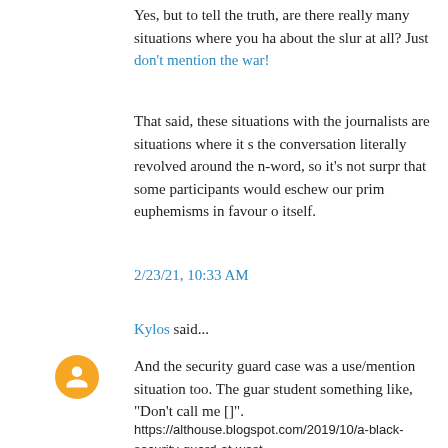Yes, but to tell the truth, are there really many situations where you have to talk about the slur at all? Just don't mention the war!
That said, these situations with the journalists are situations where it seems like the conversation literally revolved around the n-word, so it's not surprising that some participants would eschew our prim euphemisms in favour of the word itself.
2/23/21, 10:33 AM
Kylos said...
And the security guard case was a use/mention situation too. The guard told the student something like, "Don't call me []".
https://althouse.blogspot.com/2019/10/a-black-security-guard-at-west-
https://althouse.blogspot.com/2019/10/so-if-class-is-reading-to-kill.ht
You just know someone is going to get fired for saying, "Did you hear about the podcaster who got suspended/fired for saying "There was a security guard at a school in Madison who was fired for telling a student, "Don't call me [